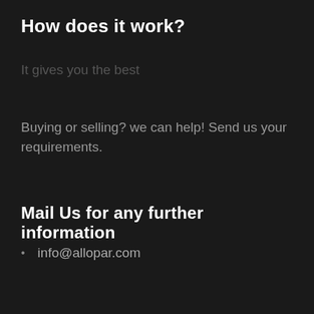How does it work?
Buying or selling? we can help! Send us your requirements.
Mail Us for any further information
info@allopar.com